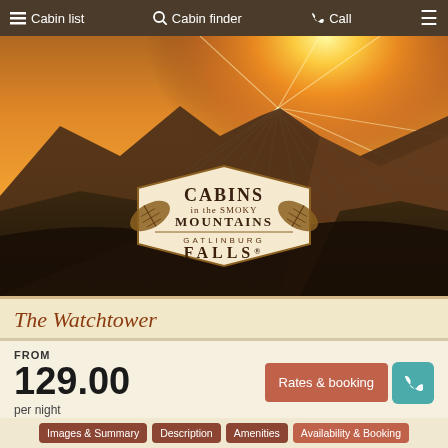Cabin list | Cabin finder | Call | Menu
[Figure (photo): Scenic mountain sunset with sun rays over Smoky Mountains, with Cabins in the Smoky Mountains / Gatlinburg Falls logo overlay]
The Watchtower
FROM
129.00
per night
Rates & booking | Call
[Figure (photo): Cabin interior photo showing wooden ceiling/beams with See all photos in a slider button]
Images & Summary
Description
Amenities
Availability & Booking